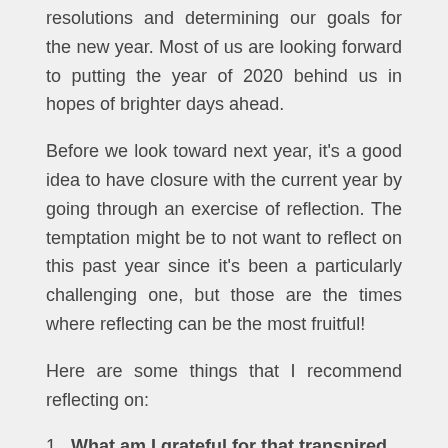resolutions and determining our goals for the new year. Most of us are looking forward to putting the year of 2020 behind us in hopes of brighter days ahead.
Before we look toward next year, it's a good idea to have closure with the current year by going through an exercise of reflection. The temptation might be to not want to reflect on this past year since it's been a particularly challenging one, but those are the times where reflecting can be the most fruitful!
Here are some things that I recommend reflecting on:
1. What am I grateful for that transpired this past year? Big, small and everything in between. What are all of the things that come to mind that you are grateful for?